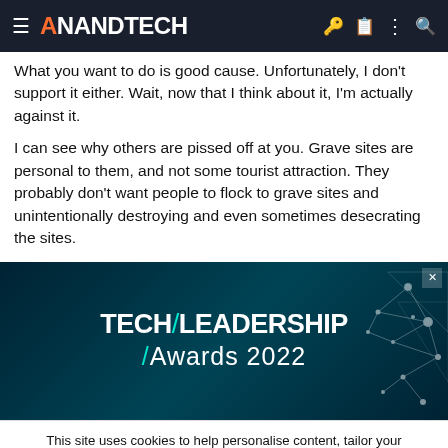AnandTech
What you want to do is good cause. Unfortunately, I don't support it either. Wait, now that I think about it, I'm actually against it.
I can see why others are pissed off at you. Grave sites are personal to them, and not some tourist attraction. They probably don't want people to flock to grave sites and unintentionally destroying and even sometimes desecrating the sites.
[Figure (screenshot): Tech Leadership Awards 2022 advertisement banner with dark teal background and geometric network graphic]
This site uses cookies to help personalise content, tailor your experience and to keep you logged in if you register.
By continuing to use this site, you are consenting to our use of cookies.
[Figure (screenshot): Tech Leadership Awards 2022 bottom advertisement bar with Nominate Today button and description: Celebrating the people and products shaping the future of media technology]